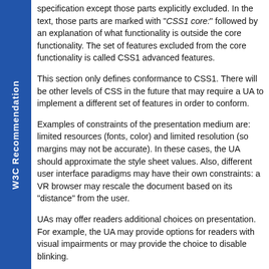specification except those parts explicitly excluded. In the text, those parts are marked with "CSS1 core:" followed by an explanation of what functionality is outside the core functionality. The set of features excluded from the core functionality is called CSS1 advanced features.
This section only defines conformance to CSS1. There will be other levels of CSS in the future that may require a UA to implement a different set of features in order to conform.
Examples of constraints of the presentation medium are: limited resources (fonts, color) and limited resolution (so margins may not be accurate). In these cases, the UA should approximate the style sheet values. Also, different user interface paradigms may have their own constraints: a VR browser may rescale the document based on its "distance" from the user.
UAs may offer readers additional choices on presentation. For example, the UA may provide options for readers with visual impairments or may provide the choice to disable blinking.